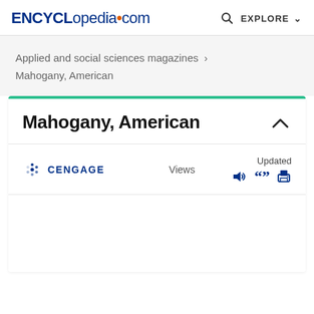ENCYCLopedia.com  EXPLORE
Applied and social sciences magazines > Mahogany, American
Mahogany, American
CENGAGE  Views  Updated